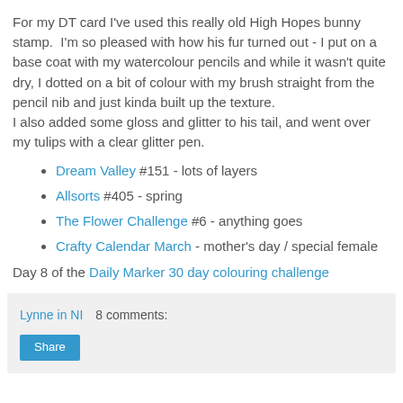For my DT card I've used this really old High Hopes bunny stamp.  I'm so pleased with how his fur turned out - I put on a base coat with my watercolour pencils and while it wasn't quite dry, I dotted on a bit of colour with my brush straight from the pencil nib and just kinda built up the texture. I also added some gloss and glitter to his tail, and went over my tulips with a clear glitter pen.
Dream Valley #151 - lots of layers
Allsorts #405 - spring
The Flower Challenge #6 - anything goes
Crafty Calendar March - mother's day / special female
Day 8 of the Daily Marker 30 day colouring challenge
Lynne in NI   8 comments:   Share